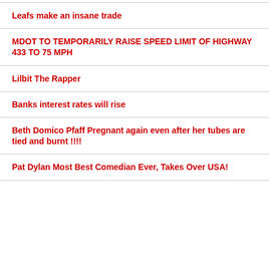Leafs make an insane trade
MDOT TO TEMPORARILY RAISE SPEED LIMIT OF HIGHWAY 433 TO 75 MPH
Lilbit The Rapper
Banks interest rates will rise
Beth Domico Pfaff Pregnant again even after her tubes are tied and burnt !!!!
Pat Dylan Most Best Comedian Ever, Takes Over USA!